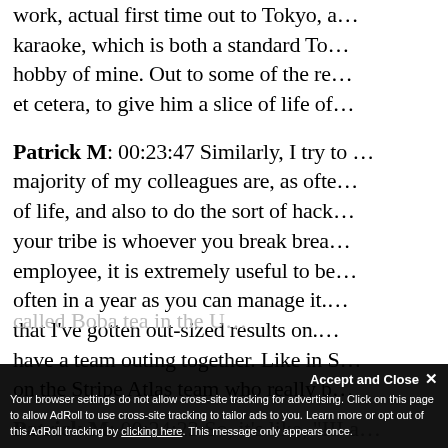work, actual first time out to Tokyo, a… karaoke, which is both a standard To… hobby of mine. Out to some of the re… et cetera, to give him a slice of life of…
Patrick M: 00:23:47 Similarly, I try to … majority of my colleagues are, as ofte… of life, and also to do the sort of hack… your tribe is whoever you break brea… employee, it is extremely useful to be… often in a year as you can manage it.… that I've gotten out-sized results on.… have a team outing together. Like in S… on the Stripe Atlas team who really b…
called Boba tea in the U…
Patrick M: 00:24:23 So, it's like, 'III a…
Accept and Close ×
Your browser settings do not allow cross-site tracking for advertising. Click on this page to allow AdRoll to use cross-site tracking to tailor ads to you. Learn more or opt out of this AdRoll tracking by clicking here. This message only appears once.